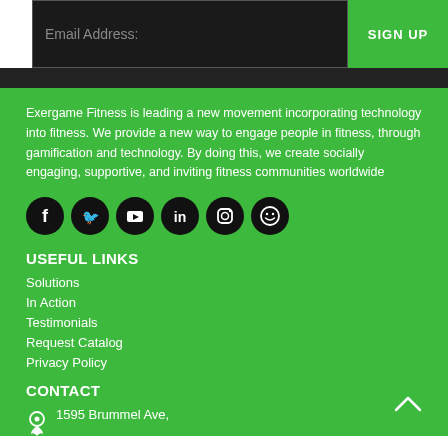Email Address:
SIGN UP
Exergame Fitness is leading a new movement incorporating technology into fitness. We provide a new way to engage people in fitness, through gamification and technology. By doing this, we create socially engaging, supportive, and inviting fitness communities worldwide
[Figure (infographic): Six social media icons (Facebook, Twitter, YouTube, LinkedIn, Instagram, and a smiley/other icon) as white symbols on black circular backgrounds]
USEFUL LINKS
Solutions
In Action
Testimonials
Request Catalog
Privacy Policy
CONTACT
1595 Brummel Ave,